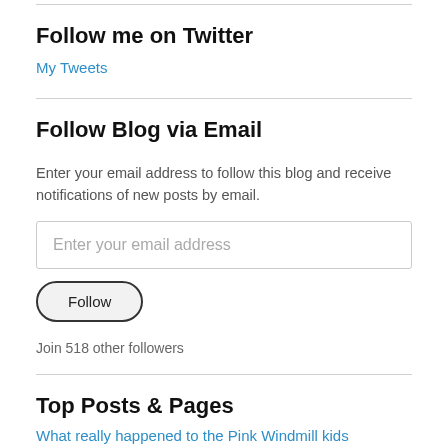Follow me on Twitter
My Tweets
Follow Blog via Email
Enter your email address to follow this blog and receive notifications of new posts by email.
Enter your email address
Follow
Join 518 other followers
Top Posts & Pages
What really happened to the Pink Windmill kids